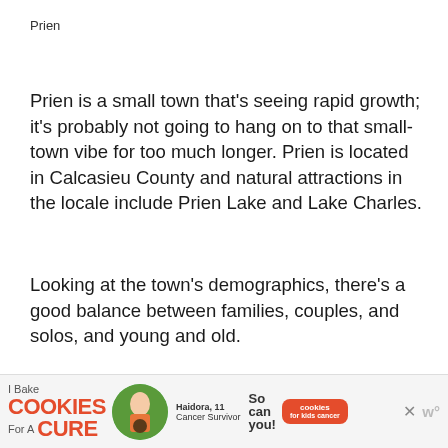Prien
Prien is a small town that’s seeing rapid growth; it’s probably not going to hang on to that small-town vibe for too much longer. Prien is located in Calcasieu County and natural attractions in the locale include Prien Lake and Lake Charles.
Looking at the town’s demographics, there’s a good balance between families, couples, and solos, and young and old.
The town is often an all-round high ranker, including being one of the best places in the state to buy a home and one of the top places to
[Figure (other): Advertisement banner: I Bake COOKIES For A CURE, featuring Haidora, 11 Cancer Survivor, So can you! Cookies for kids cancer logo, with close button and W logo]